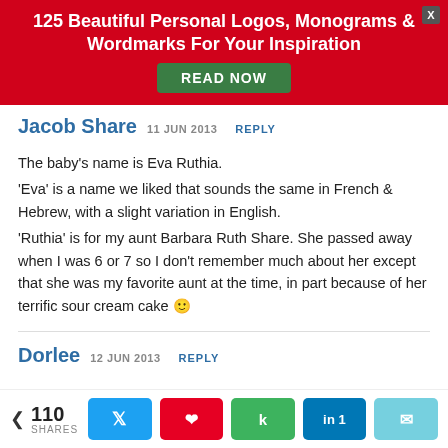[Figure (infographic): Red advertisement banner with bold white text '125 Beautiful Personal Logos, Monograms & Wordmarks For Your Inspiration' and a green 'READ NOW' button, with a close X button in the top right corner.]
Jacob Share  11 JUN 2013  REPLY
The baby's name is Eva Ruthia.
'Eva' is a name we liked that sounds the same in French & Hebrew, with a slight variation in English.
'Ruthia' is for my aunt Barbara Ruth Share. She passed away when I was 6 or 7 so I don't remember much about her except that she was my favorite aunt at the time, in part because of her terrific sour cream cake 🙂
Dorlee  12 JUN 2013  REPLY
[Figure (infographic): Social share bar with share count 110 SHARES and buttons for Twitter, Pinterest, Kik, LinkedIn (1), and Email.]